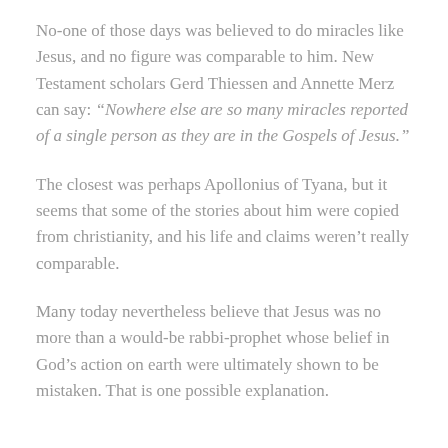No-one of those days was believed to do miracles like Jesus, and no figure was comparable to him. New Testament scholars Gerd Thiessen and Annette Merz can say: “Nowhere else are so many miracles reported of a single person as they are in the Gospels of Jesus.”
The closest was perhaps Apollonius of Tyana, but it seems that some of the stories about him were copied from christianity, and his life and claims weren’t really comparable.
Many today nevertheless believe that Jesus was no more than a would-be rabbi-prophet whose belief in God’s action on earth were ultimately shown to be mistaken. That is one possible explanation.